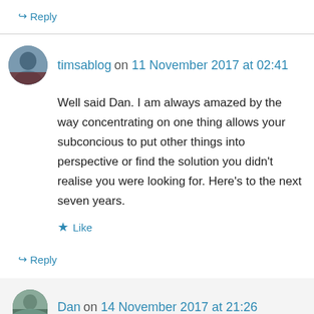↪ Reply
timsablog on 11 November 2017 at 02:41
Well said Dan. I am always amazed by the way concentrating on one thing allows your subconcious to put other things into perspective or find the solution you didn't realise you were looking for. Here's to the next seven years.
★ Like
↪ Reply
Dan on 14 November 2017 at 21:26
Thanks, Tim. I carried on and returned to